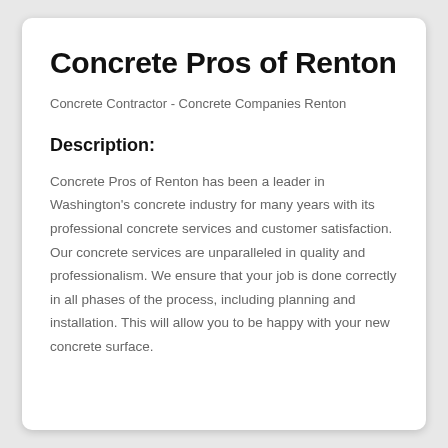Concrete Pros of Renton
Concrete Contractor - Concrete Companies Renton
Description:
Concrete Pros of Renton has been a leader in Washington's concrete industry for many years with its professional concrete services and customer satisfaction. Our concrete services are unparalleled in quality and professionalism. We ensure that your job is done correctly in all phases of the process, including planning and installation. This will allow you to be happy with your new concrete surface.